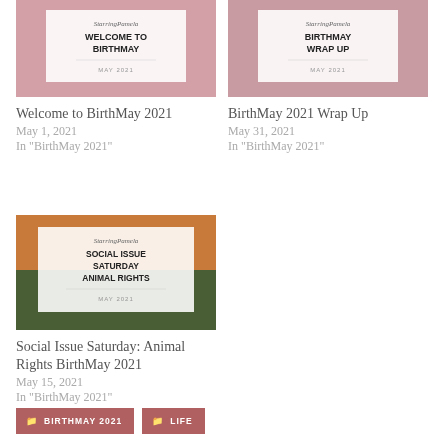[Figure (illustration): Blog thumbnail for 'Welcome to BirthMay' post with pink background and birthday cake, showing StarringPamela blog name, title WELCOME TO BIRTHMAY, and MAY 2021 date]
Welcome to BirthMay 2021
May 1, 2021
In "BirthMay 2021"
[Figure (illustration): Blog thumbnail for 'BirthMay Wrap Up' post with pink background and birthday cake, showing StarringPamela blog name, title BIRTHMAY WRAP UP, and MAY 2021 date]
BirthMay 2021 Wrap Up
May 31, 2021
In "BirthMay 2021"
[Figure (illustration): Blog thumbnail for Social Issue Saturday Animal Rights post with outdoor farm/sunset background, showing StarringPamela blog name, title SOCIAL ISSUE SATURDAY ANIMAL RIGHTS, and MAY 2021 date]
Social Issue Saturday: Animal Rights BirthMay 2021
May 15, 2021
In "BirthMay 2021"
BIRTHMAY 2021
LIFE